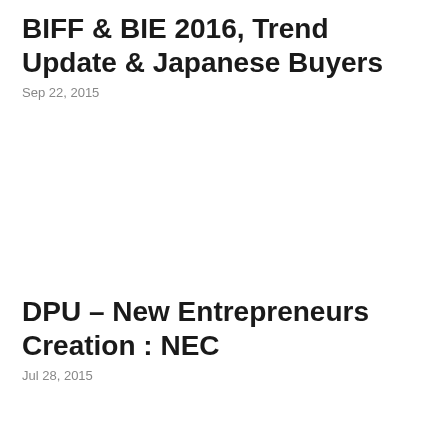BIFF & BIE 2016, Trend Update & Japanese Buyers
Sep 22, 2015
DPU – New Entrepreneurs Creation : NEC
Jul 28, 2015